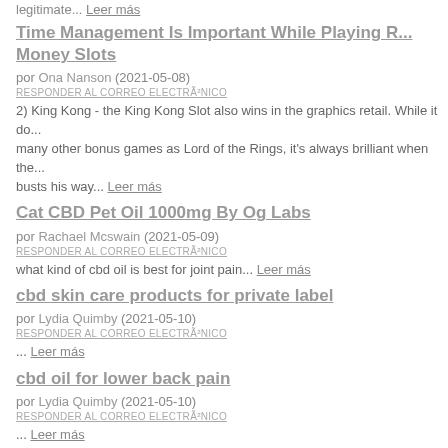legitimate... Leer más
Time Management Is Important While Playing Real Money Slots
por Ona Nanson (2021-05-08)
RESPONDER AL CORREO ELECTRÓNICO
2) King Kong - the King Kong Slot also wins in the graphics retail. While it does not have as many other bonus games as Lord of the Rings, it's always brilliant when the... busts his way... Leer más
Cat CBD Pet Oil 1000mg By Og Labs
por Rachael Mcswain (2021-05-09)
RESPONDER AL CORREO ELECTRÓNICO
what kind of cbd oil is best for joint pain... Leer más
cbd skin care products for private label
por Lydia Quimby (2021-05-10)
RESPONDER AL CORREO ELECTRÓNICO
... Leer más
cbd oil for lower back pain
por Lydia Quimby (2021-05-10)
RESPONDER AL CORREO ELECTRÓNICO
... Leer más
hony cbd chocolate